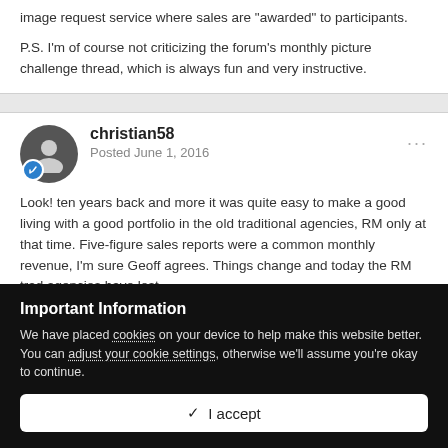image request service where sales are "awarded" to participants.
P.S. I'm of course not criticizing the forum's monthly picture challenge thread, which is always fun and very instructive.
christian58
Posted June 1, 2016
Look!  ten years back and more it was quite easy to make a good living with a good portfolio in the old traditional agencies, RM only at that time. Five-figure sales reports were a common monthly revenue, I'm sure Geoff agrees. Things change and today the RM trad agencies have lost
Important Information
We have placed cookies on your device to help make this website better. You can adjust your cookie settings, otherwise we'll assume you're okay to continue.
✓  I accept